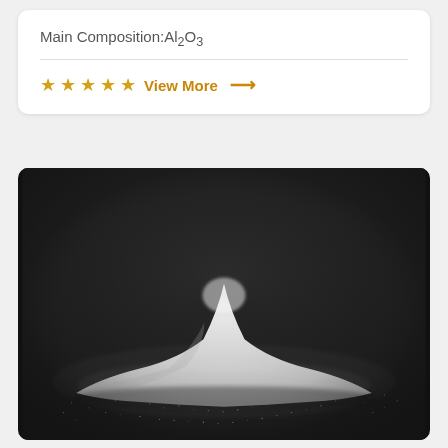Main Composition:Al2O3
★★★★★ View More →
[Figure (photo): A pile of white powder (Al2O3 / alumina) on a dark black background, photographed from above at an angle showing a mound shape with fine scattered powder around the base.]